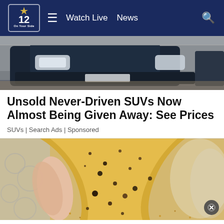NBC 12 | Watch Live  News
[Figure (photo): Close-up of a car front bumper and headlights, dark navy SUV, partial view from below]
Unsold Never-Driven SUVs Now Almost Being Given Away: See Prices
SUVs | Search Ads | Sponsored
[Figure (photo): Close-up of a hand holding a yellowish gel/substance with dark speckles, possibly related to a cleaning or pest product advertisement]